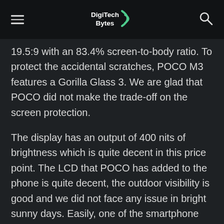DigiTech Bytes
19.5:9 with an 83.4% screen-to-body ratio. To protect the accidental scratches, POCO M3 features a Gorilla Glass 3. We are glad that POCO did not make the trade-off on the screen protection.
The display has an output of 400 nits of brightness which is quite decent in this price point. The LCD that POCO has added to the phone is quite decent, the outdoor visibility is good and we did not face any issue in bright sunny days. Easily, one of the smartphone with a good display in this price segment.